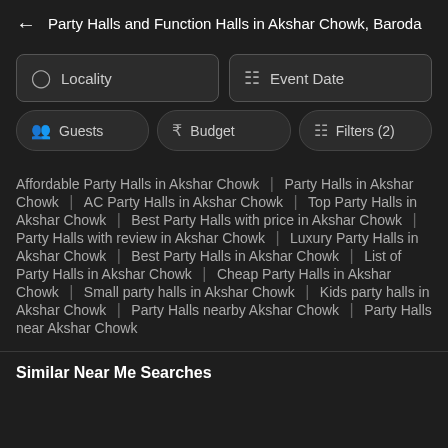Party Halls and Function Halls in Akshar Chowk, Baroda
Locality | Event Date | Guests | Budget | Filters (2)
Affordable Party Halls in Akshar Chowk | Party Halls in Akshar Chowk | AC Party Halls in Akshar Chowk | Top Party Halls in Akshar Chowk | Best Party Halls with price in Akshar Chowk | Party Halls with review in Akshar Chowk | Luxury Party Halls in Akshar Chowk | Best Party Halls in Akshar Chowk | List of Party Halls in Akshar Chowk | Cheap Party Halls in Akshar Chowk | Small party halls in Akshar Chowk | Kids party halls in Akshar Chowk | Party Halls nearby Akshar Chowk | Party Halls near Akshar Chowk
Similar Near Me Searches